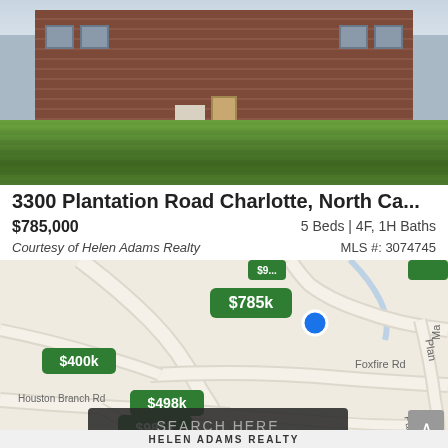[Figure (photo): Exterior photo of a large brick ranch-style house with a wide lawn and landscaping]
3300 Plantation Road Charlotte, North Ca...
$785,000    5 Beds | 4F, 1H Baths
Courtesy of Helen Adams Realty    MLS #: 3074745
[Figure (map): Street map showing neighborhood with price markers: $785k (selected, with blue dot), $400k, $498k, $985k, $365k (partial). Road labels: Foxfire Rd, Houston Branch Rd, Plan[tation Rd]. SEARCH HERE button overlay.]